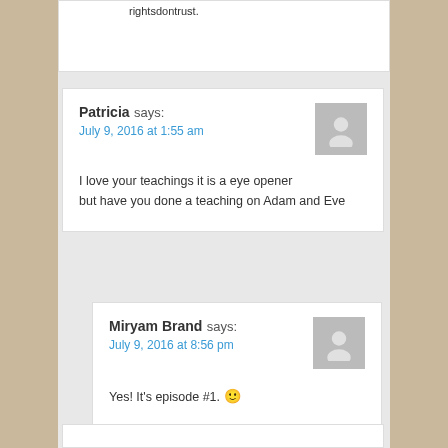rightsdontrust.
Patricia says:
July 9, 2016 at 1:55 am

I love your teachings it is a eye opener but have you done a teaching on Adam and Eve
Miryam Brand says:
July 9, 2016 at 8:56 pm

Yes! It's episode #1. 🙂